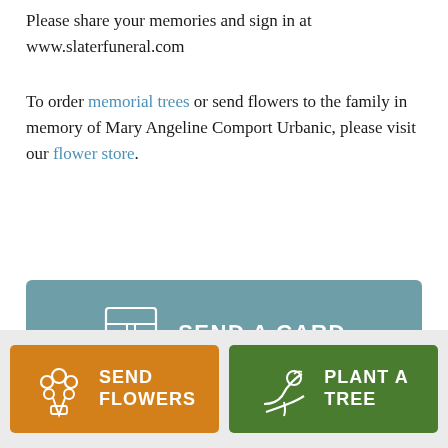Please share your memories and sign in at www.slaterfuneral.com
To order memorial trees or send flowers to the family in memory of Mary Angeline Comport Urbanic, please visit our flower store.
[Figure (other): Button: SEND A CARD with greeting card icon on teal/slate background]
[Figure (other): Button: SEND FLOWERS with flower bouquet icon on orange background]
[Figure (other): Button: PLANT A TREE with plant/hand icon on green background]